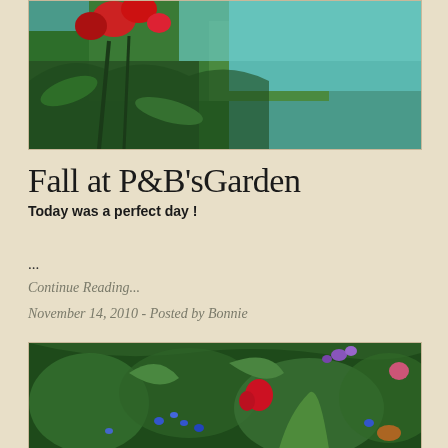[Figure (photo): Garden photo showing red roses and green foliage with a blurred background, top portion of image]
Fall at P&B'sGarden
Today was a perfect day !
...
Continue Reading...
November 14, 2010 - Posted by Bonnie
[Figure (photo): Garden photo showing lush green plants with red flowers, purple flowers, and blue flowers in a dense garden bed]